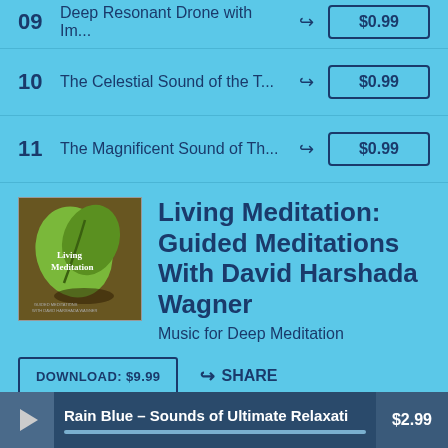09 Deep Resonant Drone with Im... $0.99
10 The Celestial Sound of the T... $0.99
11 The Magnificent Sound of Th... $0.99
[Figure (photo): Album cover for Living Meditation showing a green leaf-shaped object on a beige/tan surface with shadow, with the text 'Living Meditation' on it]
Living Meditation: Guided Meditations With David Harshada Wagner
Music for Deep Meditation
DOWNLOAD: $9.99
SHARE
Purchase on iTunes
Rain Blue – Sounds of Ultimate Relaxati  $2.99